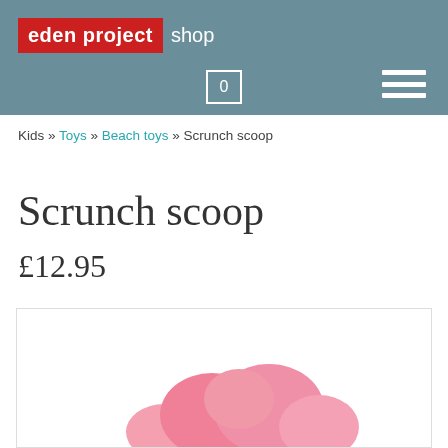eden project shop
Kids » Toys » Beach toys » Scrunch scoop
Scrunch scoop
£12.95
[Figure (photo): Pink Scrunch scoop beach toy product photo, partially visible at bottom of image box]